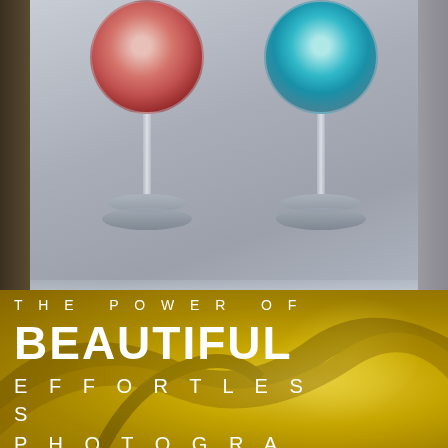[Figure (photo): Two wine glasses filled with colorful liquid - the left glass has red/pink swirling liquid and the right glass has blue/teal swirling liquid, photographed on a reflective wet surface with water splash, gray background]
[Figure (photo): Close-up macro photograph of a golden/yellow brass musical instrument (French horn or similar), showing curved metallic tubing with golden color and bokeh background]
THE POWER OF BEAUTIFUL EFFORTLESS PHOTOGRAPHY
Never miss a shot with our comprehensive